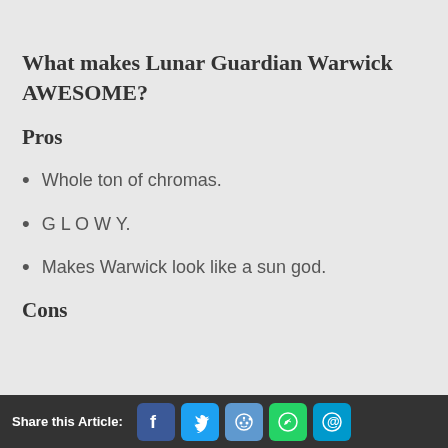What makes Lunar Guardian Warwick AWESOME?
Pros
Whole ton of chromas.
G L O W Y.
Makes Warwick look like a sun god.
Cons
Share this Article: